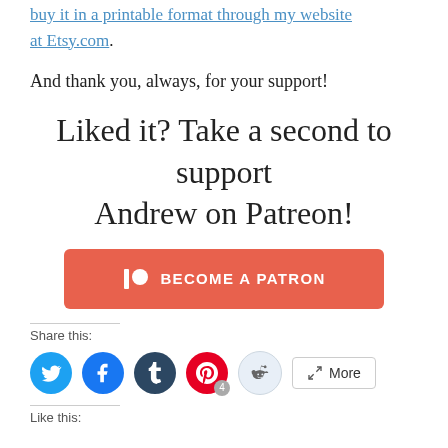buy it in a printable format through my website at Etsy.com.
And thank you, always, for your support!
Liked it? Take a second to support Andrew on Patreon!
[Figure (other): Patreon 'Become a Patron' button with orange background and Patreon logo icon]
Share this:
[Figure (other): Social share buttons: Twitter, Facebook, Tumblr, Pinterest (with badge 4), Reddit, and More button]
Like this: